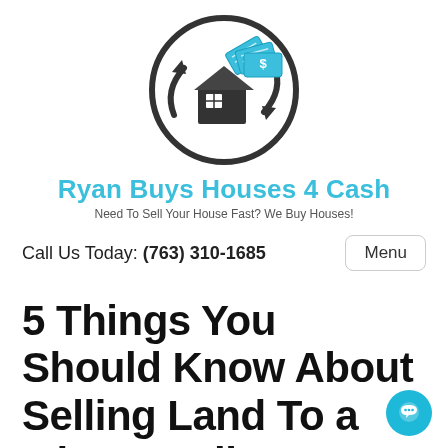[Figure (logo): Ryan Buys Houses 4 Cash logo: circular icon with a house and cash/money graphic with arrows, in dark gray and cyan/teal colors]
Ryan Buys Houses 4 Cash
Need To Sell Your House Fast? We Buy Houses!
Call Us Today: (763) 310-1685  Menu
5 Things You Should Know About Selling Land To a Minneapolis Investor – (It's amazing and we are